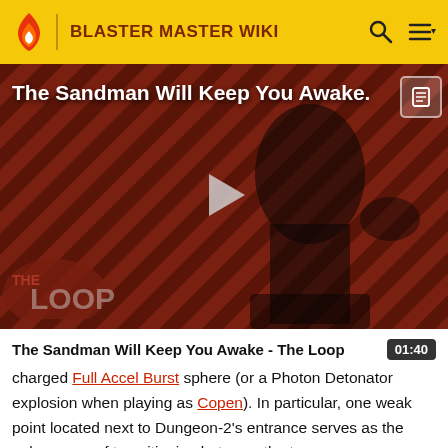BLASTER MASTER WIKI
[Figure (screenshot): Video thumbnail showing a dark figure against a red diagonal striped background with play button overlay. Title overlay reads 'The Sandman Will Keep You Awake.' and 'THE LOOP' watermark at bottom.]
The Sandman Will Keep You Awake - The Loop
charged Full Accel Burst sphere (or a Photon Detonator explosion when playing as Copen). In particular, one weak point located next to Dungeon-2's entrance serves as the only means of transitioning between the two areas